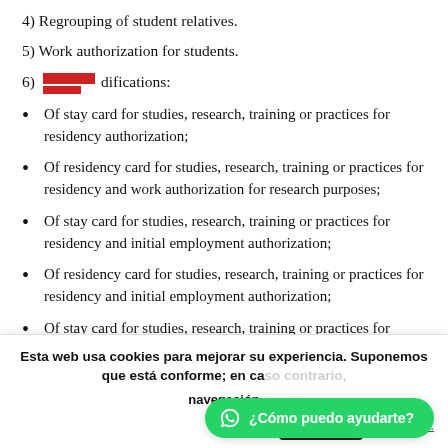4) Regrouping of student relatives.
5) Work authorization for students.
6) [redacted] modifications:
Of stay card for studies, research, training or practices for residency authorization;
Of residency card for studies, research, training or practices for residency and work authorization for research purposes;
Of stay card for studies, research, training or practices for residency and initial employment authorization;
Of residency card for studies, research, training or practices for residency and initial employment authorization;
Of stay card for studies, research, training or practices for residency and initial employment authorization intended for highly qualified professionals.
Esta web usa cookies para mejorar su experiencia. Suponemos que está conforme; en ca... navegación
¿Cómo puedo ayudarte?